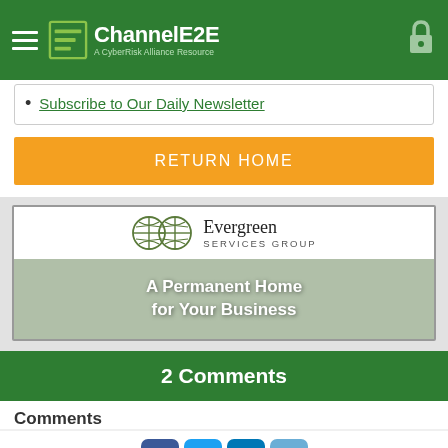ChannelE2E – A CyberRisk Alliance Resource
Subscribe to Our Daily Newsletter
RETURN HOME
[Figure (logo): Evergreen Services Group advertisement – A Permanent Home for Your Business]
2 Comments
Comments
[Figure (infographic): Social share icons: Facebook, Twitter, LinkedIn, Email]